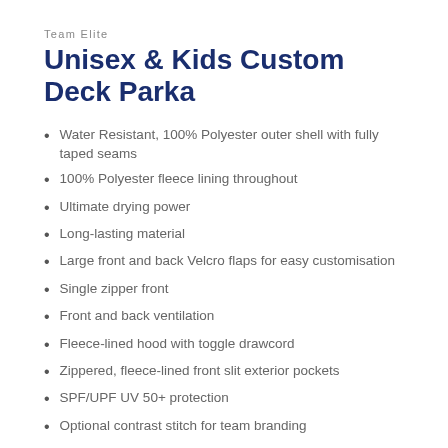Team Elite
Unisex & Kids Custom Deck Parka
Water Resistant, 100% Polyester outer shell with fully taped seams
100% Polyester fleece lining throughout
Ultimate drying power
Long-lasting material
Large front and back Velcro flaps for easy customisation
Single zipper front
Front and back ventilation
Fleece-lined hood with toggle drawcord
Zippered, fleece-lined front slit exterior pockets
SPF/UPF UV 50+ protection
Optional contrast stitch for team branding